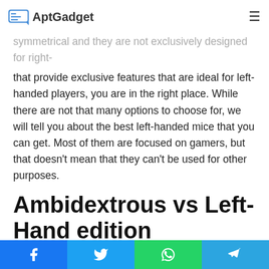AptGadget
symmetrical and they are not exclusively designed for right-handed people. However, if you are looking for devices that provide exclusive features that are ideal for left-handed players, you are in the right place. While there are not that many options to choose for, we will tell you about the best left-handed mice that you can get. Most of them are focused on gamers, but that doesn't mean that they can't be used for other purposes.
Ambidextrous vs Left-Hand edition
As previously mentioned, there are mice that work for both left-handed and right-handed people. What this means is that their shape and curves are not just linear or symmetrical